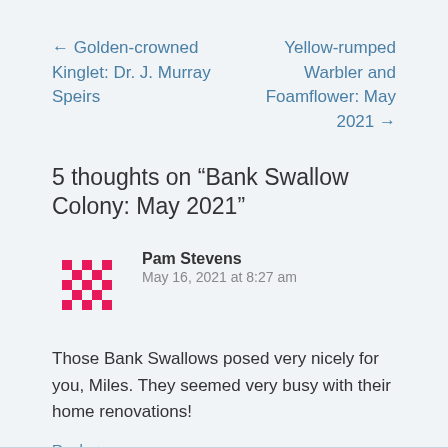← Golden-crowned Kinglet: Dr. J. Murray Speirs
Yellow-rumped Warbler and Foamflower: May 2021 →
5 thoughts on “Bank Swallow Colony: May 2021”
Pam Stevens
May 16, 2021 at 8:27 am
Those Bank Swallows posed very nicely for you, Miles. They seemed very busy with their home renovations!
Reply ↓